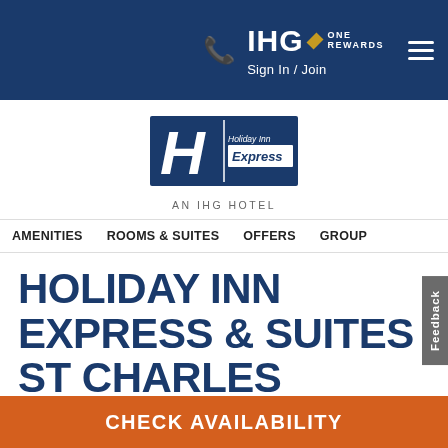IHG ONE REWARDS Sign In / Join
[Figure (logo): Holiday Inn Express logo with 'AN IHG HOTEL' text below]
AMENITIES  ROOMS & SUITES  OFFERS  GROUP
HOLIDAY INN EXPRESS & SUITES ST CHARLES
3098 Elm Point Industrial Drive, St. Charles, MO 63301 United States
CHECK AVAILABILITY